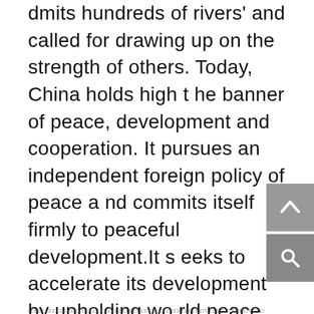dmits hundreds of rivers' and called for drawing up on the strength of others. Today, China holds the banner of peace, development and cooperation. It pursues an independent foreign policy of peace and commits itself firmly to peaceful development. It seeks to accelerate its development by upholding world peace. The world peace is, in turn, enhanced by China's development. China firmly pursues a strategy of opening-up for mutual benefit and win-win outcomes. It genuinely wishes to enter into extensive cooperation with other countries. It is inclusive and is eager to draw on the strength of other civilizations to pursue peace and development through cooperation and play its part in building a harmonious world of enduring peace and common prosperity.
□□□□□□□□□□□□□□□□□□□□□□□□□□□□□□□□□□□□□□□□□□□"□□□"□"□□□□□"□□□□